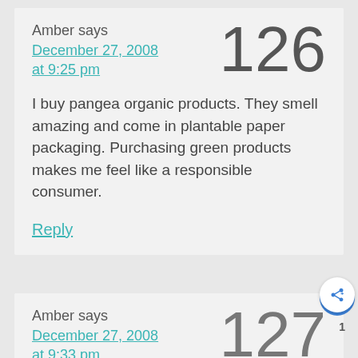Amber says
December 27, 2008 at 9:25 pm
126
I buy pangea organic products. They smell amazing and come in plantable paper packaging. Purchasing green products makes me feel like a responsible consumer.
Reply
Amber says
December 27, 2008 at 9:33 pm
127